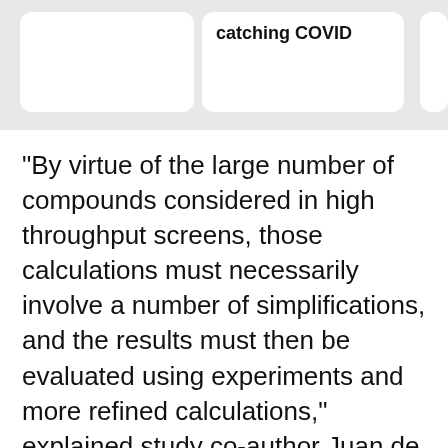[Figure (other): Top bar with two white rounded cards on a light grey background. The right card contains bold text 'catching COVID'. A partial third card is visible at the far right edge.]
“By virtue of the large number of compounds considered in high throughput screens, those calculations must necessarily involve a number of simplifications, and the results must then be evaluated using experiments and more refined calculations,” explained study co-author Juan de Pablo from the University of Chicago.
ADVERTISEMENT